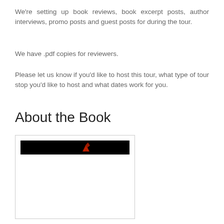We're setting up book reviews, book excerpt posts, author interviews, promo posts and guest posts for during the tour.
We have .pdf copies for reviewers.
Please let us know if you'd like to host this tour, what type of tour stop you'd like to host and what dates work for you.
About the Book
[Figure (photo): Book cover image inside a bordered container, showing a black banner at the top with a small red figure/illustration]